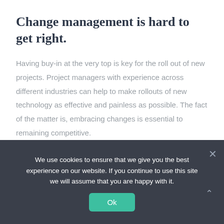Change management is hard to get right.
Having buy-in at the very top is key for the roll out of new projects. Project managers with experience across different industries can help to make rollouts of new technology as effective and painless as possible. The fact of the matter is, embracing changes is essential to remaining competitive.
We use cookies to ensure that we give you the best experience on our website. If you continue to use this site we will assume that you are happy with it.